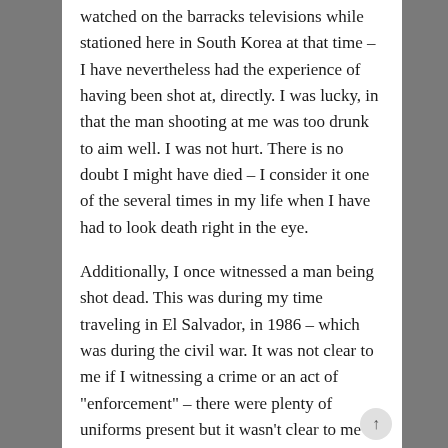watched on the barracks televisions while stationed here in South Korea at that time – I have nevertheless had the experience of having been shot at, directly. I was lucky, in that the man shooting at me was too drunk to aim well. I was not hurt. There is no doubt I might have died – I consider it one of the several times in my life when I have had to look death right in the eye.
Additionally, I once witnessed a man being shot dead. This was during my time traveling in El Salvador, in 1986 – which was during the civil war. It was not clear to me if I witnessing a crime or an act of "enforcement" – there were plenty of uniforms present but it wasn't clear to me if the uniforms were military or rebel forces, and how it all worked. I suspect that during the Salvadorean civil war of that era, the line between crime and military enforcement was pretty blurry. My main reaction was to get away from